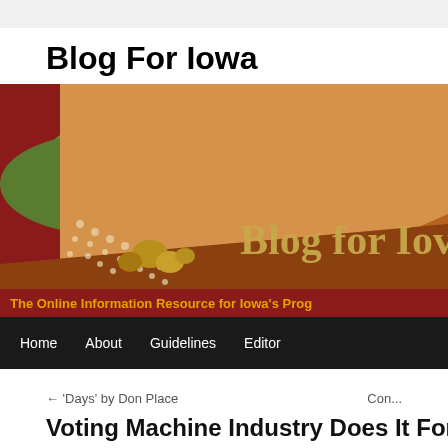Blog For Iowa
[Figure (illustration): Blog For Iowa website banner showing a Grant Wood-style painting of Iowa farmland with rolling hills and crop rows on a dark red background. Text reads 'Blog for Iowa' and subtitle 'The Online Information Resource for Iowa's Prog...' with a black navigation bar below containing Home, About, Guidelines, Editor links.]
← 'Days' by Don Place    Con...
Voting Machine Industry Does It For Io...